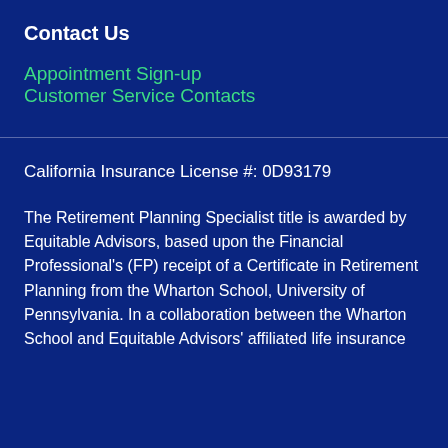Contact Us
Appointment Sign-up
Customer Service Contacts
California Insurance License #: 0D93179
The Retirement Planning Specialist title is awarded by Equitable Advisors, based upon the Financial Professional's (FP) receipt of a Certificate in Retirement Planning from the Wharton School, University of Pennsylvania. In a collaboration between the Wharton School and Equitable Advisors' affiliated life insurance